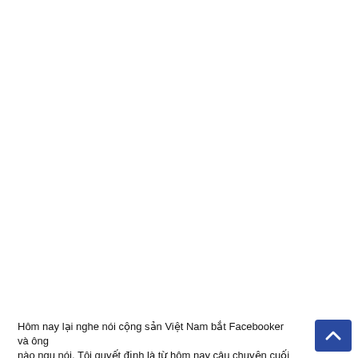AI MUA TÔI BÁN
Đừng hiểu lầm nhe, bán trang web bao gồm tên và địa chỉ trang web. Mua bài viết của học trò thời bao cấp, học không/thiếu thốn sách vở... không nhiễm độc ngôn ngữ cộng sản nhiều lắm... bán luôn. Những gì tiếng Việt, bán hết. Bán để khỏi thấy, khỏi nghe, khỏi bị nhiễm gì hết... Rồi từ giã thế giới tiếng Việt.
Hôm nay lại nghe nói cộng sản Việt Nam bắt Facebooker và ông nào ngu nói. Tôi quyết định là từ hôm nay câu chuyện cuối hàng...